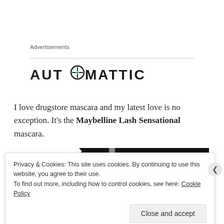Advertisements
[Figure (logo): Automattic logo in bold black sans-serif letters with a compass/clock icon replacing the letter O]
I love drugstore mascara and my latest love is no exception. It’s the Maybelline Lash Sensational mascara.
[Figure (photo): Close-up photo of a mascara product on a black and white background]
Privacy & Cookies: This site uses cookies. By continuing to use this website, you agree to their use.
To find out more, including how to control cookies, see here: Cookie Policy
Close and accept